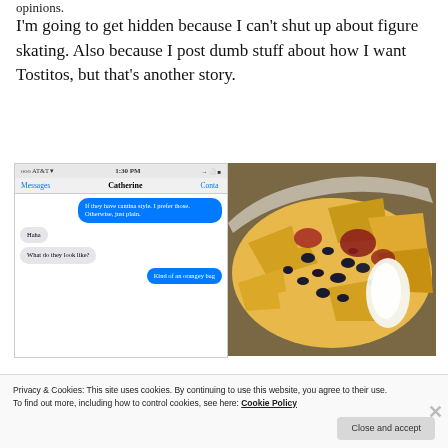opinions.
I'm going to get hidden because I can't shut up about figure skating. Also because I post dumb stuff about how I want Tostitos, but that's another story.
[Figure (screenshot): iPhone screenshot showing an iMessage conversation with Catherine. Messages visible: sent bubble 'If they have cantina style. I prefer those. Otherwise, just plain.' / received 'Haha' / received 'What do they look like?' / sent 'Kind of an orangey bag']
[Figure (photo): Photo of nachos with toppings including black beans, salsa, sour cream on a plate with yellowish tortilla chips]
Privacy & Cookies: This site uses cookies. By continuing to use this website, you agree to their use.
To find out more, including how to control cookies, see here: Cookie Policy
Close and accept